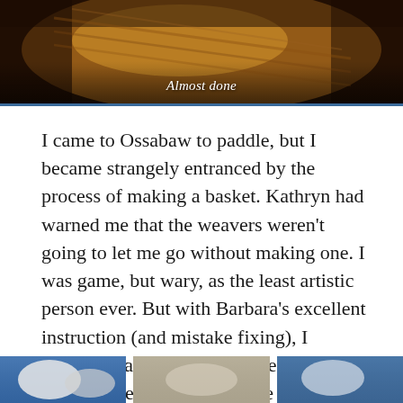[Figure (photo): Close-up photograph of a woven basket with warm brown and amber tones, with caption 'Almost done' overlaid at the bottom]
Almost done
I came to Ossabaw to paddle, but I became strangely entranced by the process of making a basket. Kathryn had warned me that the weavers weren’t going to let me go without making one. I was game, but wary, as the least artistic person ever. But with Barbara’s excellent instruction (and mistake fixing), I actually made a basket. I loved visiting with the weavers. They come every year and told island stories of years past.
[Figure (photo): Partial view of another photograph at the bottom of the page, showing blue and neutral tones, partially cropped]